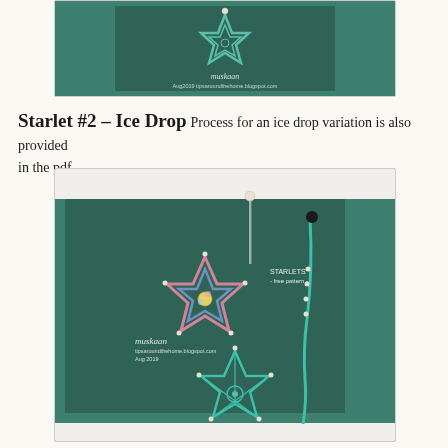[Figure (photo): Close-up photo of a tatted lace star (starlet) in teal/green thread on a dark green background, with watermark 'muskaan Aug2019 tipsaroundthehome.blogspot.com']
Starlet #2 – Ice Drop Process for an ice drop variation is also provided in the pdf.
[Figure (photo): Photo of two tatted lace starlets on a dark green background: one pink/blue star-shaped piece labeled 'STARLETS - free pattern -' and one teal ice drop variation, both by muskaan from tipsaroundthehome.blogspot.com Aug 2019]